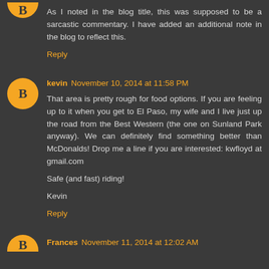As I noted in the blog title, this was supposed to be a sarcastic commentary. I have added an additional note in the blog to reflect this.
Reply
kevin November 10, 2014 at 11:58 PM
That area is pretty rough for food options. If you are feeling up to it when you get to El Paso, my wife and I live just up the road from the Best Western (the one on Sunland Park anyway). We can definitely find something better than McDonalds! Drop me a line if you are interested: kwfloyd at gmail.com
Safe (and fast) riding!
Kevin
Reply
Frances November 11, 2014 at 12:02 AM